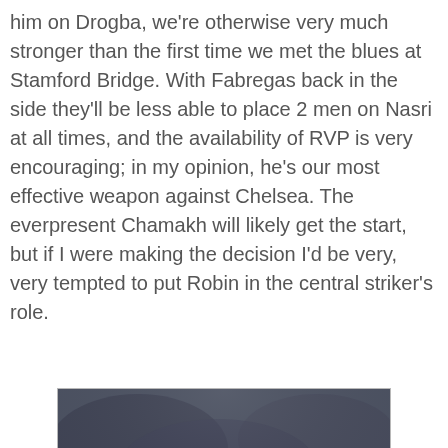him on Drogba, we're otherwise very much stronger than the first time we met the blues at Stamford Bridge. With Fabregas back in the side they'll be less able to place 2 men on Nasri at all times, and the availability of RVP is very encouraging; in my opinion, he's our most effective weapon against Chelsea. The everpresent Chamakh will likely get the start, but if I were making the decision I'd be very, very tempted to put Robin in the central striker's role.
[Figure (photo): Football match photo showing an Arsenal player in red and white kit kicking a ball, with a Chelsea player in blue kit visible in the background, taken at night at Stamford Bridge stadium.]